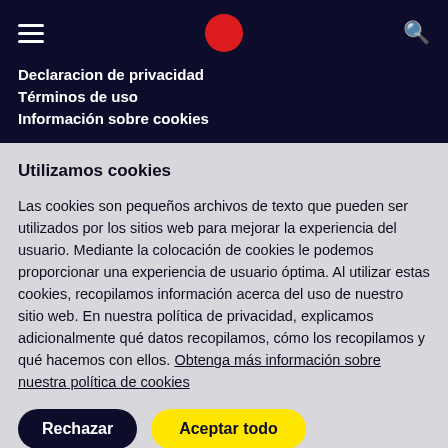Declaracion de privacidad | Términos de uso | Información sobre cookies
Utilizamos cookies
Las cookies son pequeños archivos de texto que pueden ser utilizados por los sitios web para mejorar la experiencia del usuario. Mediante la colocación de cookies le podemos proporcionar una experiencia de usuario óptima. Al utilizar estas cookies, recopilamos información acerca del uso de nuestro sitio web. En nuestra política de privacidad, explicamos adicionalmente qué datos recopilamos, cómo los recopilamos y qué hacemos con ellos. Obtenga más información sobre nuestra política de cookies
Rechazar
Aceptar todo
Configuración de cookies'